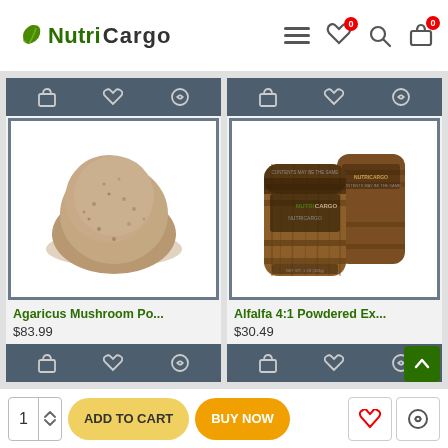NutriCargo
[Figure (photo): Agaricus Mushroom Powder product image - pile of brown powder]
Agaricus Mushroom Po...
$83.99
[Figure (photo): Alfalfa 4:1 Powdered Extract product - two NutriCargo branded wooden barrel-style bags]
Alfalfa 4:1 Powdered Ex...
$30.49
1  ADD TO CART  BUY NOW